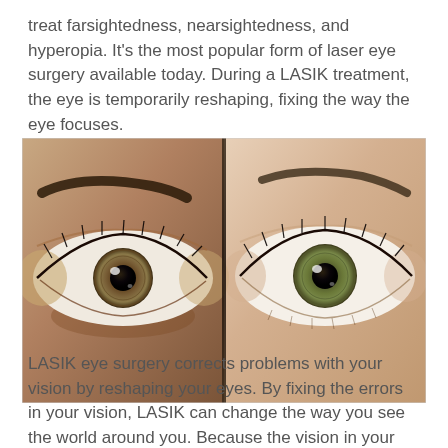treat farsightedness, nearsightedness, and hyperopia. It's the most popular form of laser eye surgery available today. During a LASIK treatment, the eye is temporarily reshaping, fixing the way the eye focuses.
[Figure (photo): Close-up photo of two human eyes side by side, one from a person with darker complexion on the left and one from a person with lighter complexion on the right, both showing detailed iris and eyelashes.]
LASIK eye surgery corrects problems with your vision by reshaping your eyes. By fixing the errors in your vision, LASIK can change the way you see the world around you. Because the vision in your eyes was corrected, you should